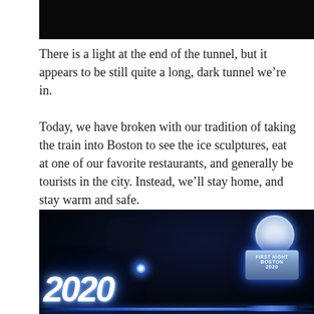[Figure (photo): Dark black image at top of page, appears to be a nighttime scene cropped to show mostly darkness]
There is a light at the end of the tunnel, but it appears to be still quite a long, dark tunnel we’re in.
Today, we have broken with our tradition of taking the train into Boston to see the ice sculptures, eat at one of our favorite restaurants, and generally be tourists in the city. Instead, we’ll stay home, and stay warm and safe.
[Figure (photo): Nighttime photo of ice sculptures at Boston First Night 2020 event. On the left is a glowing white ice sculpture reading '2020' in large italic numbers, lit with blue light. On the right is an ice sculpture of a clock on a pedestal that reads 'First Night Boston 2020', all illuminated with blue lighting against a dark night sky.]